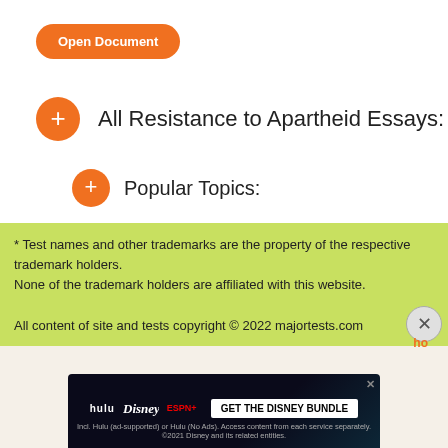[Figure (other): Orange rounded button labeled 'Open Document']
All Resistance to Apartheid Essays:
Popular Topics:
* Test names and other trademarks are the property of the respective trademark holders.
None of the trademark holders are affiliated with this website.

All content of site and tests copyright © 2022 majortests.com
[Figure (screenshot): Hulu Disney Bundle advertisement banner]